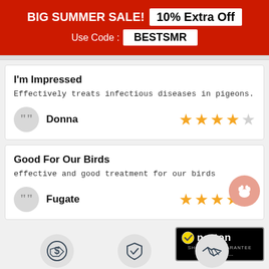BIG SUMMER SALE! 10% Extra Off Use Code : BESTSMR
I'm Impressed
Effectively treats infectious diseases in pigeons.
Donna — 4 out of 5 stars
Good For Our Birds
effective and good treatment for our birds
Fugate — 5 out of 5 stars